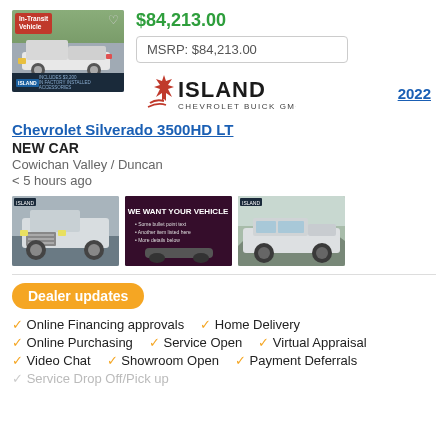[Figure (photo): Vehicle listing thumbnail of a white Chevrolet Silverado 3500HD truck with In-Transit Vehicle label]
$84,213.00
MSRP: $84,213.00
[Figure (logo): Island Chevrolet Buick GMC EV dealership logo with maple leaf]
2022
Chevrolet Silverado 3500HD LT
NEW CAR
Cowichan Valley / Duncan
< 5 hours ago
[Figure (photo): Front view of white Chevrolet Silverado 3500HD truck]
[Figure (photo): We Want Your Vehicle promotional banner]
[Figure (photo): Side view of white Chevrolet Silverado truck]
Dealer updates
Online Financing approvals
Home Delivery
Online Purchasing
Service Open
Virtual Appraisal
Video Chat
Showroom Open
Payment Deferrals
Service Drop Off/Pick up